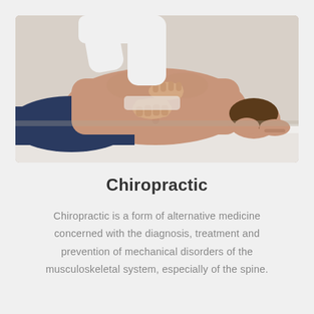[Figure (photo): A chiropractor performing spinal manipulation on a patient lying face down on a treatment table. The practitioner's hands are pressing on the patient's lower back. The patient is shirtless and wearing dark blue shorts, with arms crossed beneath their head.]
Chiropractic
Chiropractic is a form of alternative medicine concerned with the diagnosis, treatment and prevention of mechanical disorders of the musculoskeletal system, especially of the spine.